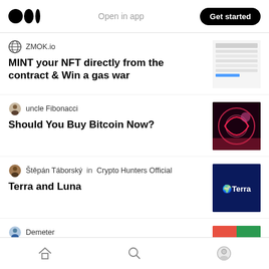Open in app | Get started
ZMOK.io
MINT your NFT directly from the contract & Win a gas war
uncle Fibonacci
Should You Buy Bitcoin Now?
Štěpán Táborský in Crypto Hunters Official
Terra and Luna
Demeter
Demeter: A Core Stablecoin Project On
Home | Search | Profile